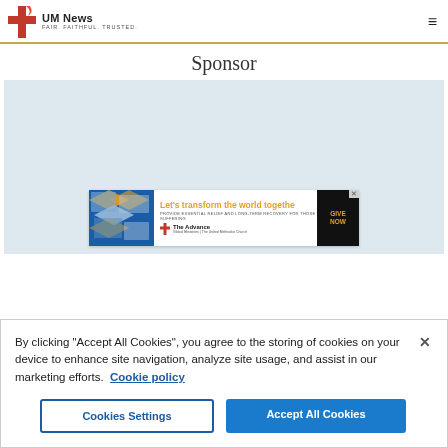UM News FAIR. FAITHFUL. TRUSTED.
Sponsor
[Figure (illustration): The Advance ad banner: 'Let's transform the world together' with blue diamond collage on left, orange bold text, subtitle 'PROVIDE ESSENTIAL RELIEF AND LONG-TERM RECOVERY FOR THOSE WHO ARE SUFFERING', The Advance logo, and 'GIVE NOW' button on black background]
By clicking "Accept All Cookies", you agree to the storing of cookies on your device to enhance site navigation, analyze site usage, and assist in our marketing efforts. Cookie policy
Cookies Settings | Accept All Cookies